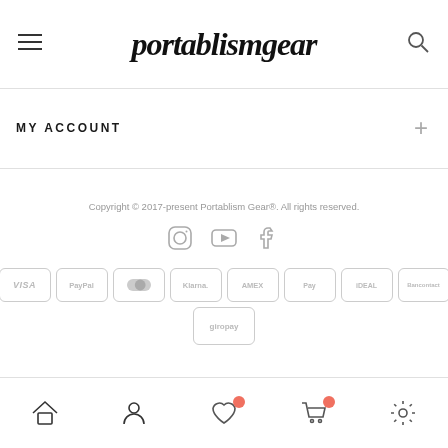portablismgear
MY ACCOUNT
Copyright © 2017-present Portablism Gear®. All rights reserved.
[Figure (other): Social media icons: Instagram, YouTube, Facebook]
[Figure (other): Payment method badges: VISA, PayPal, generic, Klarna, AMEX, Apple Pay, iDEAL, Bancontact, giropay]
[Figure (other): Bottom navigation bar with home, account, wishlist (with badge), cart (with badge), and settings icons]